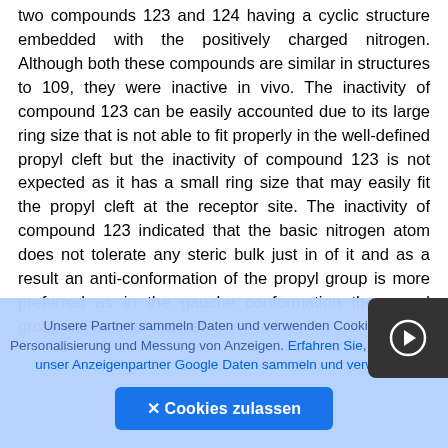two compounds 123 and 124 having a cyclic structure embedded with the positively charged nitrogen. Although both these compounds are similar in structures to 109, they were inactive in vivo. The inactivity of compound 123 can be easily accounted due to its large ring size that is not able to fit properly in the well-defined propyl cleft but the inactivity of compound 123 is not expected as it has a small ring size that may easily fit the propyl cleft at the receptor site. The inactivity of compound 123 indicated that the basic nitrogen atom does not tolerate any steric bulk just in of it and as a result an anti-conformation of the propyl group is more preferred as in the gauche conformation the propyl group will be oriented just
Unsere Partner sammeln Daten und verwenden Cookies zur Personalisierung und Messung von Anzeigen. Erfahren Sie, wie wir und unser Anzeigenpartner Google Daten sammeln und verwenden
✕ Cookies zulassen